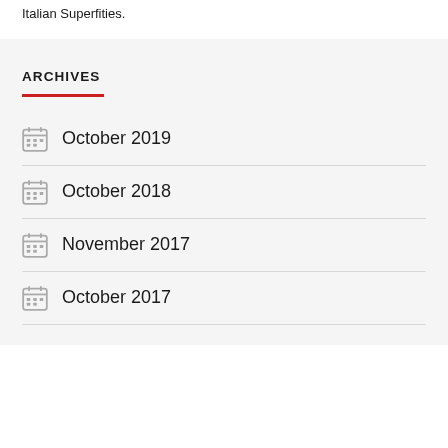Italian Superfities.
ARCHIVES
October 2019
October 2018
November 2017
October 2017